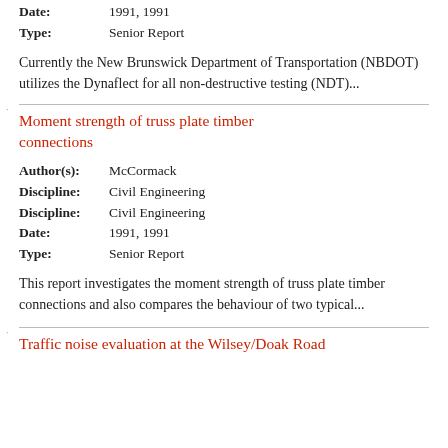Date: 1991, 1991
Type: Senior Report
Currently the New Brunswick Department of Transportation (NBDOT) utilizes the Dynaflect for all non-destructive testing (NDT)...
Moment strength of truss plate timber connections
Author(s): McCormack
Discipline: Civil Engineering
Discipline: Civil Engineering
Date: 1991, 1991
Type: Senior Report
This report investigates the moment strength of truss plate timber connections and also compares the behaviour of two typical...
Traffic noise evaluation at the Wilsey/Doak Road